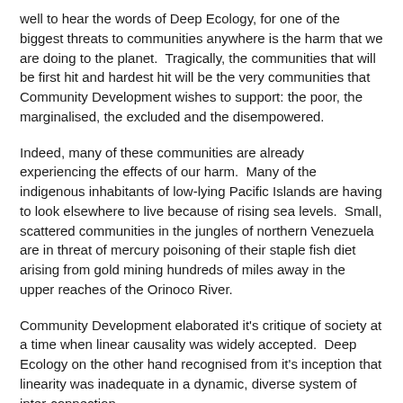well to hear the words of Deep Ecology, for one of the biggest threats to communities anywhere is the harm that we are doing to the planet.  Tragically, the communities that will be first hit and hardest hit will be the very communities that Community Development wishes to support: the poor, the marginalised, the excluded and the disempowered.
Indeed, many of these communities are already experiencing the effects of our harm.  Many of the indigenous inhabitants of low-lying Pacific Islands are having to look elsewhere to live because of rising sea levels.  Small, scattered communities in the jungles of northern Venezuela are in threat of mercury poisoning of their staple fish diet arising from gold mining hundreds of miles away in the upper reaches of the Orinoco River.
Community Development elaborated it's critique of society at a time when linear causality was widely accepted.  Deep Ecology on the other hand recognised from it's inception that linearity was inadequate in a dynamic, diverse system of inter-connection.